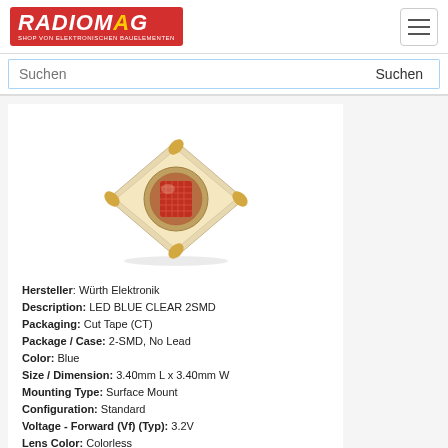RADIOMAG - SHOP VON ELEKTRONISCHEN BAUELEMENTEN
[Figure (screenshot): Search bar with text input 'Suchen' and a 'Suchen' button]
[Figure (photo): SMD LED component photo - a square gold/beige ceramic SMD LED package with a red/clear lens in the center, shown in 3/4 perspective view]
Hersteller: Würth Elektronik
Description: LED BLUE CLEAR 2SMD
Packaging: Cut Tape (CT)
Package / Case: 2-SMD, No Lead
Color: Blue
Size / Dimension: 3.40mm L x 3.40mm W
Mounting Type: Surface Mount
Configuration: Standard
Voltage - Forward (Vf) (Typ): 3.2V
Lens Color: Colorless
Current - Test: 350mA